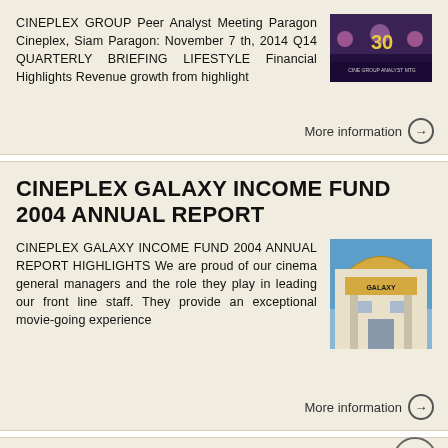CINEPLEX GROUP Peer Analyst Meeting Paragon Cineplex, Siam Paragon: November 7 th, 2014 Q14 QUARTERLY BRIEFING LIFESTYLE Financial Highlights Revenue growth from highlight
[Figure (photo): Dark image with text overlay showing a cinema or event venue with purple/pink lighting and crowd]
More information →
CINEPLEX GALAXY INCOME FUND 2004 ANNUAL REPORT
CINEPLEX GALAXY INCOME FUND 2004 ANNUAL REPORT HIGHLIGHTS We are proud of our cinema general managers and the role they play in leading our front line staff. They provide an exceptional movie-going experience
[Figure (photo): Photo of a Cineplex Galaxy cinema building exterior with blue sky and yellow signage]
More information →
Cineworld Group 2016 Results 9 th March